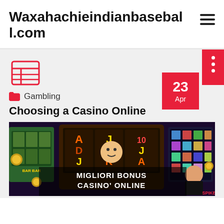Waxahachieindianbaseball.com
Gambling
Choosing a Casino Online
[Figure (photo): Casino online promotional image showing slot machine games and text 'MIGLIORI BONUS CASINO' ONLINE' with a person and game screenshots]